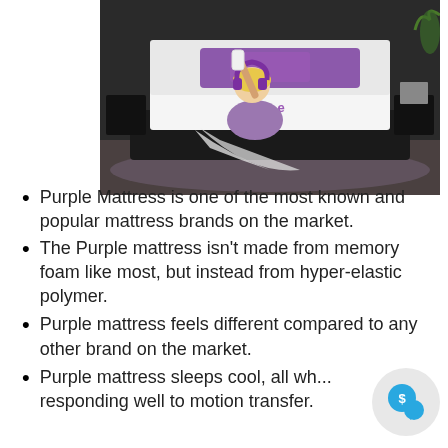[Figure (photo): Woman with purple headphones sitting against a Purple brand mattress on a dark platform bed in a modern bedroom with dark walls and purple bedding.]
Purple Mattress is one of the most known and popular mattress brands on the market.
The Purple mattress isn't made from memory foam like most, but instead from hyper-elastic polymer.
Purple mattress feels different compared to any other brand on the market.
Purple mattress sleeps cool, all wh... responding well to motion transfer.